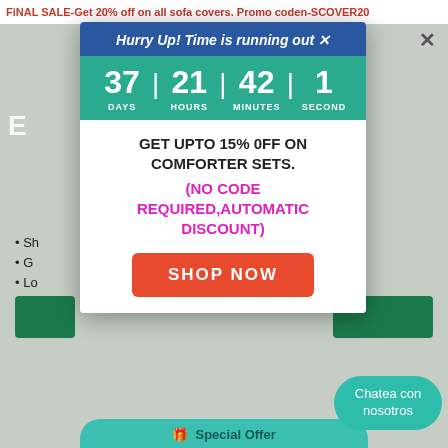FiNAL SALE-Get 20% off on all sofa covers. Promo coden-SCOVER20
[Figure (screenshot): Background of e-commerce website showing partial heading, bullet points, and green buttons]
Hurry Up! Time is running out ×
37 DAYS | 21 HOURS | 42 MINUTES | 1 SECOND
GET UPTO 15% 0FF ON COMFORTER SETS.
(NO CODE REQUIRED,AUTOMATIC DISCOUNT)
SHOP NOW
Chatea con nosotros
🎁 Special Offer